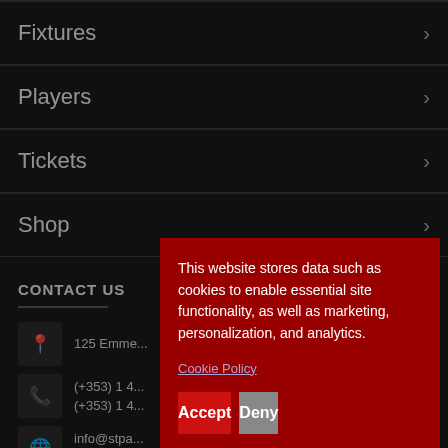Fixtures
Players
Tickets
Shop
CONTACT US
125 Emme...
(+353) 1 4...
(+353) 1 4...
info@stpa...
www.stpa...
This website stores data such as cookies to enable essential site functionality, as well as marketing, personalization, and analytics.
Cookie Policy
Accept
Deny